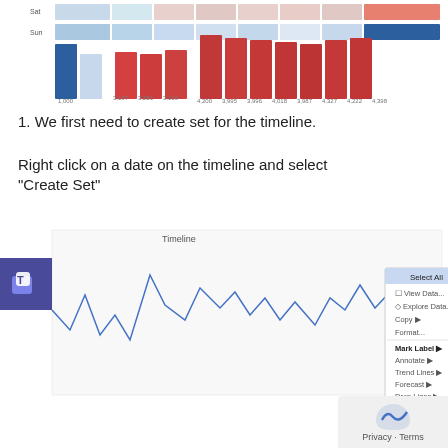[Figure (screenshot): Partial view of a heatmap/matrix chart showing colored cells in red, pink, and blue shades, with numeric axis labels]
1. We first need to create set for the timeline.
Right click on a date on the timeline and select "Create Set"
[Figure (screenshot): Screenshot of a Tableau timeline line chart with a right-click context menu open showing options: Select All, View Data..., Explore Data..., Copy, Format..., Mark Label, Annotate, Trend Lines, Forecast, Drop Lines, Show View Toolbar, Keep Only, Exclude, Create Set...]